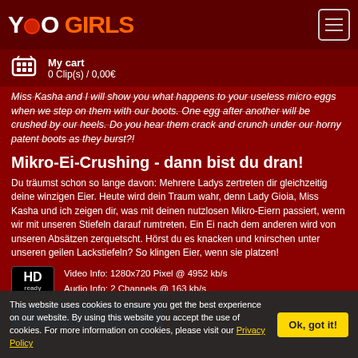[Figure (logo): YooGirls logo with orange GIRLS text and hamburger menu icon]
My cart
0 Clip(s) / 0,00€
Miss Kasha and I will show you what happens to your useless micro eggs when we step on them with our boots. One egg after another will be crushed by our heels. Do you hear them crack and crunch under our horny patent boots as they burst?!
Mikro-Ei-Crushing - dann bist du dran!
Du träumst schon so lange davon: Mehrere Ladys zertreten dir gleichzeitig deine winzigen Eier. Heute wird dein Traum wahr, denn Lady Gioia, Miss Kasha und ich zeigen dir, was mit deinen nutzlosen Mikro-Eiern passiert, wenn wir mit unseren Stiefeln darauf rumtreten. Ein Ei nach dem anderen wird von unseren Absätzen zerquetscht. Hörst du es knacken und knirschen unter unseren geilen Lackstiefeln? So klingen Eier, wenn sie platzen!
Video Info: 1280x720 Pixel @ 4952 kb/s
Audio Info: 2 Channels @ 163 kb/s
Share video on Twitter
This website uses cookies to ensure you get the best experience on our website. By using this website you accept the use of cookies. For more information on cookies, please visit our Privacy Policy